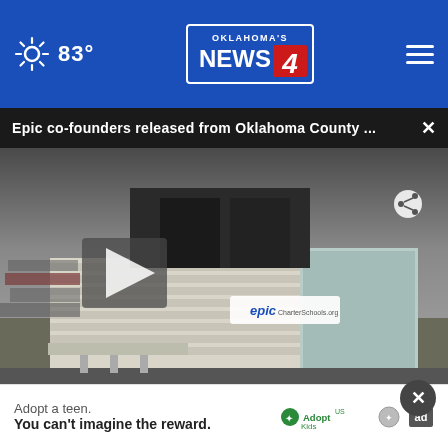83° Oklahoma's News 4
Epic co-founders released from Oklahoma County ... ×
[Figure (screenshot): Aerial drone photo of Epic Charter Schools building, a large beige commercial building with Epic logo visible, parking lot in foreground, dark sky overhead. Play button overlay visible.]
OKLAHOMA CITY (KFOR) – Epic Charter Schools co-founders were bonded out of jail Thursday with their attorney only
Adopt a teen. You can't imagine the reward. Adopt US Kids ad